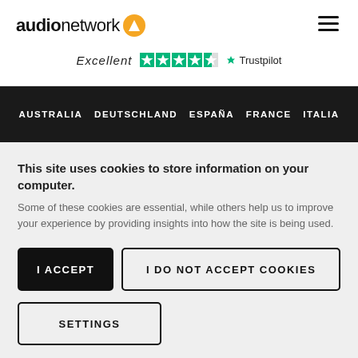audio network
[Figure (logo): Audio Network logo with orange circular icon containing triangle/A symbol]
[Figure (screenshot): Trustpilot rating: Excellent with 4.5 green stars and Trustpilot wordmark]
AUSTRALIA   DEUTSCHLAND   ESPAÑA   FRANCE   ITALIA
This site uses cookies to store information on your computer. Some of these cookies are essential, while others help us to improve your experience by providing insights into how the site is being used.
I ACCEPT
I DO NOT ACCEPT COOKIES
SETTINGS